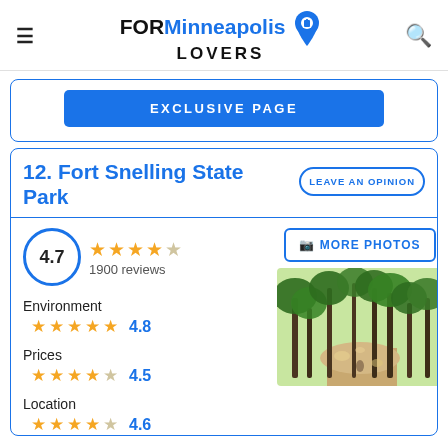FORMinneapolis LOVERS
EXCLUSIVE PAGE
12. Fort Snelling State Park
LEAVE AN OPINION
4.7 — 1900 reviews
MORE PHOTOS
[Figure (photo): Forest path with green trees and dappled sunlight on a dirt trail]
Environment 4.8
Prices 4.5
Location 4.6